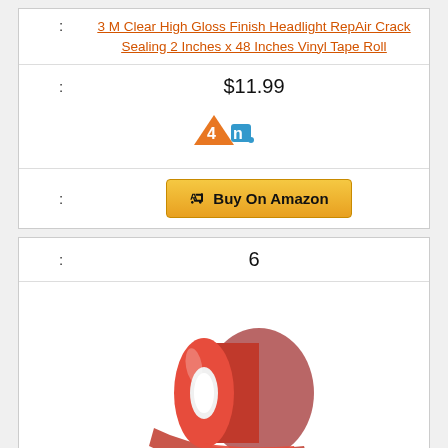: 3M Clear High Gloss Finish Headlight RepAir Crack Sealing 2 Inches x 48 Inches Vinyl Tape Roll
: $11.99
[Figure (logo): 4n logo in orange and blue]
: Buy On Amazon (button)
: 6
[Figure (photo): Red/translucent vinyl tape roll product photo]